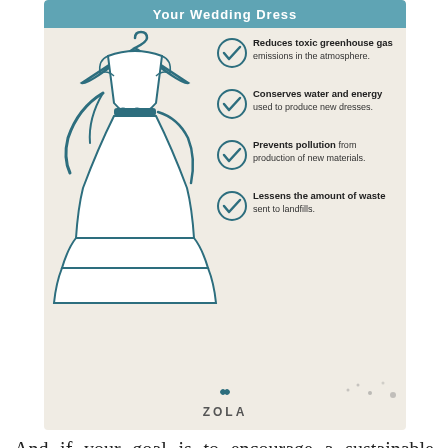[Figure (infographic): Infographic from Zola showing benefits of donating your wedding dress: reduces toxic greenhouse gas emissions, conserves water and energy, prevents pollution, lessens amount of waste sent to landfills. Features illustration of a wedding dress on a hanger with teal checkmarks.]
And if your goal is to encourage a sustainable lifestyle, donating your wedding dress does just that!